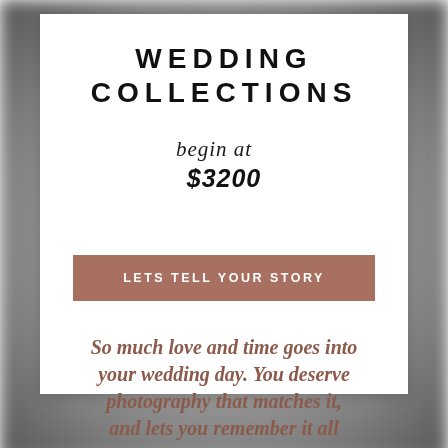WEDDING COLLECTIONS
begin at $3200
LETS TELL YOUR STORY
So much love and time goes into your wedding day. You deserve photography that matches it, and lets you remember it all